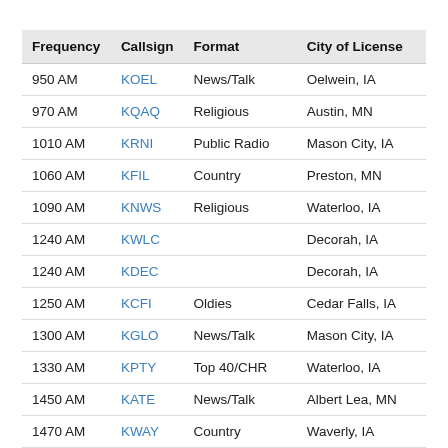| Frequency | Callsign | Format | City of License |
| --- | --- | --- | --- |
| 950 AM | KOEL | News/Talk | Oelwein, IA |
| 970 AM | KQAQ | Religious | Austin, MN |
| 1010 AM | KRNI | Public Radio | Mason City, IA |
| 1060 AM | KFIL | Country | Preston, MN |
| 1090 AM | KNWS | Religious | Waterloo, IA |
| 1240 AM | KWLC |  | Decorah, IA |
| 1240 AM | KDEC |  | Decorah, IA |
| 1250 AM | KCFI | Oldies | Cedar Falls, IA |
| 1300 AM | KGLO | News/Talk | Mason City, IA |
| 1330 AM | KPTY | Top 40/CHR | Waterloo, IA |
| 1450 AM | KATE | News/Talk | Albert Lea, MN |
| 1470 AM | KWAY | Country | Waverly, IA |
| 1480 AM | KAUS | News/Talk | Austin, MN |